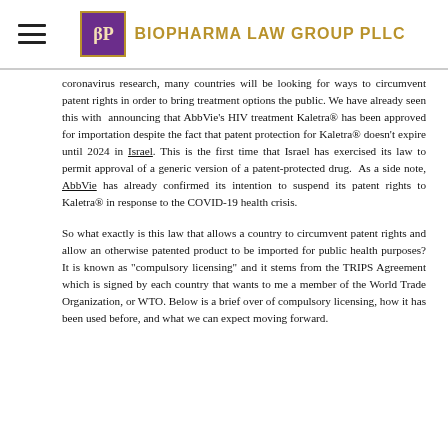BIOPHARMA LAW GROUP PLLC
coronavirus research, many countries will be looking for ways to circumvent patent rights in order to bring treatment options the public. We have already seen this with announcing that AbbVie's HIV treatment Kaletra® has been approved for importation despite the fact that patent protection for Kaletra® doesn't expire until 2024 in Israel. This is the first time that Israel has exercised its law to permit approval of a generic version of a patent-protected drug. As a side note, AbbVie has already confirmed its intention to suspend its patent rights to Kaletra® in response to the COVID-19 health crisis.
So what exactly is this law that allows a country to circumvent patent rights and allow an otherwise patented product to be imported for public health purposes? It is known as "compulsory licensing" and it stems from the TRIPS Agreement which is signed by each country that wants to me a member of the World Trade Organization, or WTO. Below is a brief over of compulsory licensing, how it has been used before, and what we can expect moving forward.